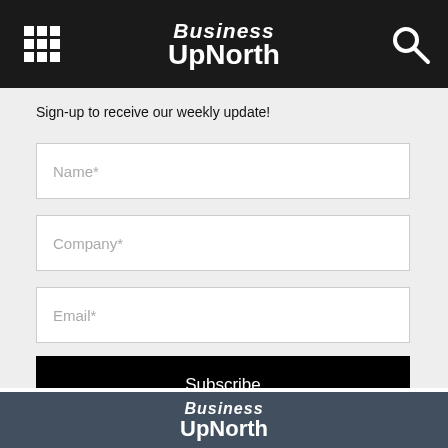Business UpNorth
Sign-up to receive our weekly update!
Name*
Company*
Email*
Subscribe
[Figure (logo): Business UpNorth logo in white on dark background]